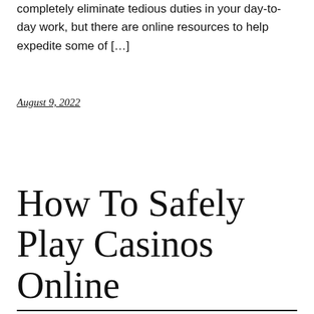completely eliminate tedious duties in your day-to-day work, but there are online resources to help expedite some of […]
August 9, 2022
How To Safely Play Casinos Online